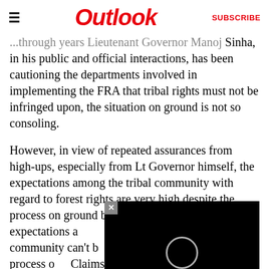Outlook | SUBSCRIBE
...through years Lieutenant Governor Manoj Sinha, in his public and official interactions, has been cautioning the departments involved in implementing the FRA that tribal rights must not be infringed upon, the situation on ground is not so consoling.
However, in view of repeated assurances from high-ups, especially from Lt Governor himself, the expectations among the tribal community with regard to forest rights are very high despite the process on ground being very slow. The hope, expectations and the demands of the Tribal community can't be met without expediting the process of... Claims should be cleared in a time-bound manner. Regular meetings at sub-divisional and district levels should be held...
[Figure (screenshot): Black video player overlay with a close button (X) in top-left corner and a circular play button icon in the center]